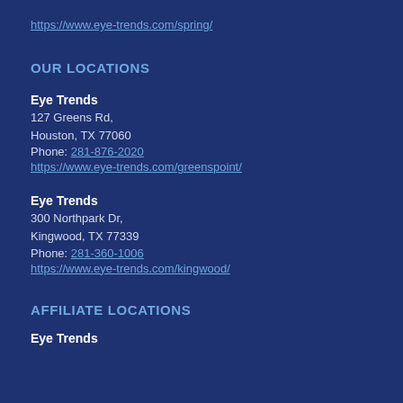https://www.eye-trends.com/spring/
OUR LOCATIONS
Eye Trends
127 Greens Rd,
Houston, TX 77060
Phone: 281-876-2020
https://www.eye-trends.com/greenspoint/
Eye Trends
300 Northpark Dr,
Kingwood, TX 77339
Phone: 281-360-1006
https://www.eye-trends.com/kingwood/
AFFILIATE LOCATIONS
Eye Trends